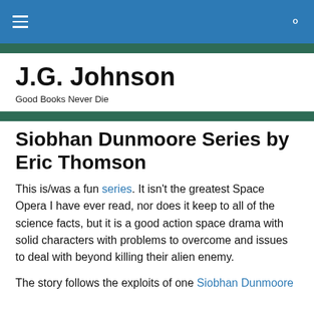J.G. Johnson — Good Books Never Die (navigation bar)
J.G. Johnson
Good Books Never Die
Siobhan Dunmoore Series by Eric Thomson
This is/was a fun series. It isn't the greatest Space Opera I have ever read, nor does it keep to all of the science facts, but it is a good action space drama with solid characters with problems to overcome and issues to deal with beyond killing their alien enemy.
The story follows the exploits of one Siobhan Dunmoore